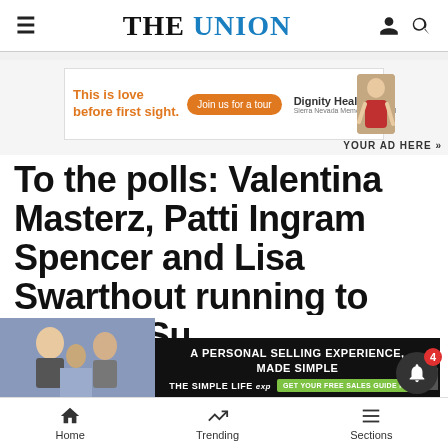THE UNION
[Figure (screenshot): Advertisement banner: 'This is love before first sight.' with Dignity Health Sierra Nevada Memorial Hospital branding and 'Join us for a tour' button]
YOUR AD HERE »
To the polls: Valentina Masterz, Patti Ingram Spencer and Lisa Swarthout running to replace Supervisor Dan Mill...
[Figure (screenshot): Overlay ad: 'A PERSONAL SELLING EXPERIENCE, MADE SIMPLE - THE SIMPLE LIFE exp - GET YOUR FREE SALES GUIDE NOW!']
News
Home   Trending   Sections